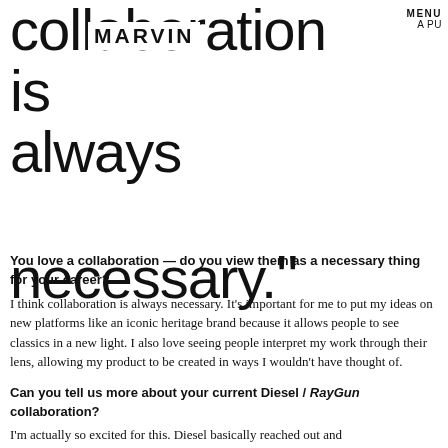collaboration is always necessary."
[Figure (logo): MARVIN logo text overlaid on the large quote text]
MENU  A PU
You love a collaboration — do you view them as a necessary thing for your career?
I think collaboration is always necessary. It's important for me to put my ideas on new platforms like an iconic heritage brand because it allows people to see classics in a new light. I also love seeing people interpret my work through their lens, allowing my product to be created in ways I wouldn't have thought of.
Can you tell us more about your current Diesel / RayGun collaboration?
I'm actually so excited for this. Diesel basically reached out and